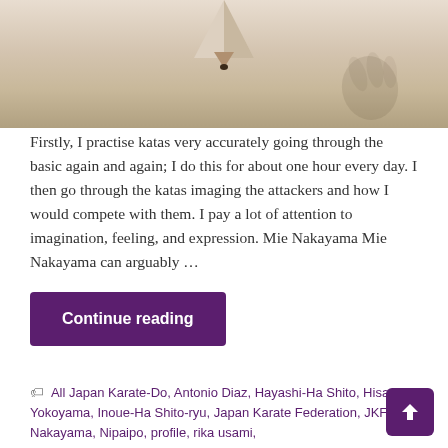[Figure (photo): Close-up photo of a pencil tip pointing downward against a light background, with a smudge or hand print visible in the lower right corner.]
Firstly, I practise katas very accurately going through the basic again and again; I do this for about one hour every day. I then go through the katas imaging the attackers and how I would compete with them. I pay a lot of attention to imagination, feeling, and expression. Mie Nakayama Mie Nakayama can arguably …
Continue reading
All Japan Karate-Do, Antonio Diaz, Hayashi-Ha Shito, Hisami Yokoyama, Inoue-Ha Shito-ryu, Japan Karate Federation, JKF, Mie Nakayama, Nipaipo, profile, rika usami,